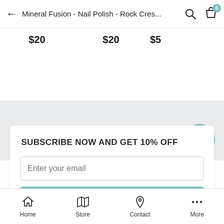← Mineral Fusion - Nail Polish - Rock Cres... 🔍 🛍️ 0
$20   $20   $5
SUBSCRIBE NOW AND GET 10% OFF
Enter your email
Subscribe
Home   Store   Contact   More